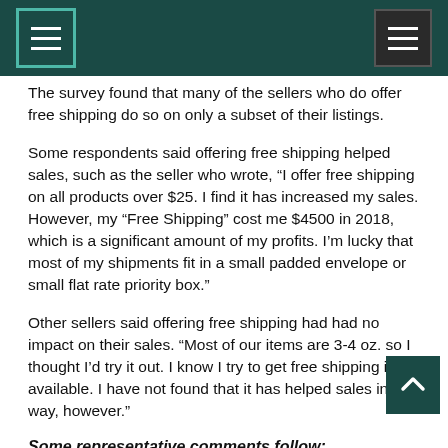[Navigation header with menu icons]
The survey found that many of the sellers who do offer free shipping do so on only a subset of their listings.
Some respondents said offering free shipping helped sales, such as the seller who wrote, “I offer free shipping on all products over $25. I find it has increased my sales. However, my “Free Shipping” cost me $4500 in 2018, which is a significant amount of my profits. I’m lucky that most of my shipments fit in a small padded envelope or small flat rate priority box.”
Other sellers said offering free shipping had had no impact on their sales. “Most of our items are 3-4 oz. so I thought I’d try it out. I know I try to get free shipping if available. I have not found that it has helped sales in any way, however.”
Some representative comments follow: